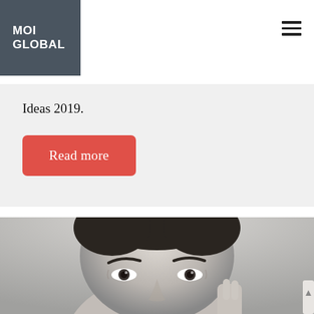[Figure (logo): MOI GLOBAL logo — dark gray square with white bold text reading MOI GLOBAL]
Ideas 2019.
Read more
[Figure (photo): Black and white close-up portrait photograph of a man's face, slightly angled, with short dark hair and a hand raised near his chin]